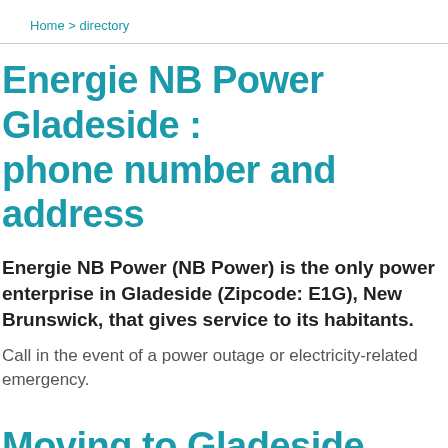Home > directory
Energie NB Power Gladeside : phone number and address
Energie NB Power (NB Power) is the only power enterprise in Gladeside (Zipcode: E1G), New Brunswick, that gives service to its habitants.
Call in the event of a power outage or electricity-related emergency.
Moving to Gladeside (E1G) and